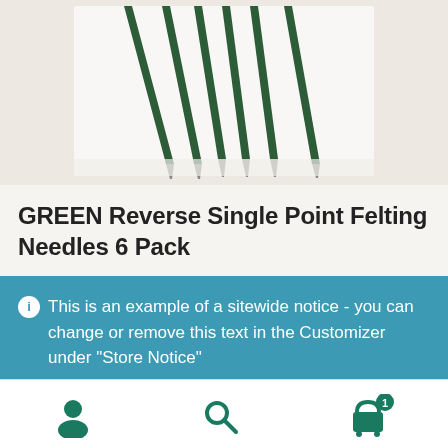[Figure (photo): Product photo showing six green-handled reverse single point felting needles fanned out on a white surface, viewed from above at an angle, with metallic needle tips pointing downward.]
GREEN Reverse Single Point Felting Needles 6 Pack
This is an example of a sitewide notice - you can change or remove this text in the Customizer under "Store Notice"
Dismiss